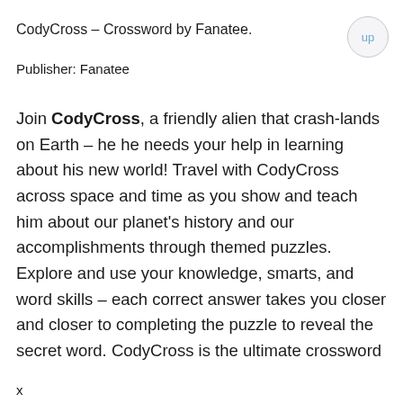CodyCross – Crossword by Fanatee.
Publisher: Fanatee
Join CodyCross, a friendly alien that crash-lands on Earth – he he needs your help in learning about his new world! Travel with CodyCross across space and time as you show and teach him about our planet's history and our accomplishments through themed puzzles. Explore and use your knowledge, smarts, and word skills – each correct answer takes you closer and closer to completing the puzzle to reveal the secret word. CodyCross is the ultimate crossword